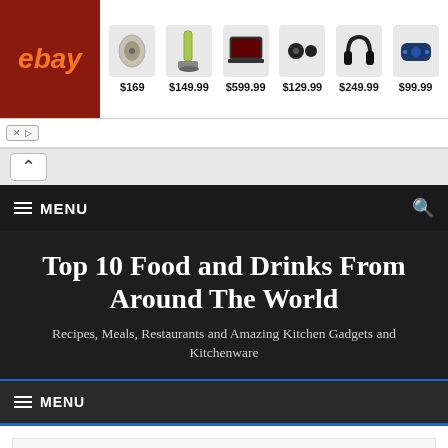[Figure (screenshot): eBay advertisement banner showing products with prices: earbuds $169, vacuum $149.99, laptop $599.99, earbuds $129.99, headphones $249.99, speaker $99.99]
Top 10 Food and Drinks From Around The World
Recipes, Meals, Restaurants and Amazing Kitchen Gadgets and Kitchenware
Learn How I Made $13,490.50 With Adsense With Just One Change!
| Estimated earnings | Page views | Clicks | Page CTR | CPC | Page RPM |
| --- | --- | --- | --- | --- | --- |
| $13,490.50 | 5,070,341 | 26,217 | 0.00% | $0.01 | $0.00 |